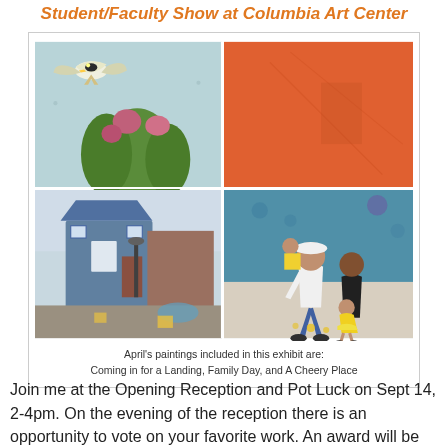Student/Faculty Show at Columbia Art Center
[Figure (photo): Collage of four paintings: top-left shows a bird (hummingbird/chickadee) in flight over cactus with pink flowers; top-right shows an orange abstract background; bottom-right shows a family of three walking (man, woman, and young girl in yellow dress); bottom-left shows a European-style blue cottage on a cobblestone street.]
April's paintings included in this exhibit are:
Coming in for a Landing, Family Day, and A Cheery Place
Join me at the Opening Reception and Pot Luck on Sept 14, 2-4pm. On the evening of the reception there is an opportunity to vote on your favorite work. An award will be